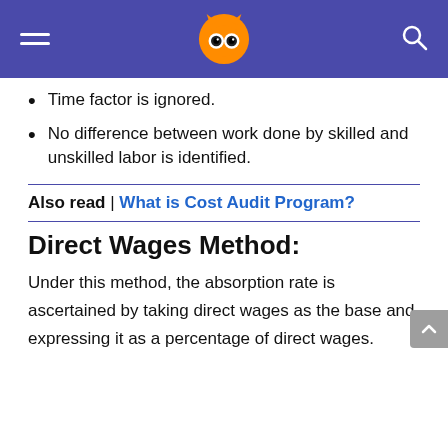Owl logo header with hamburger menu and search icon
Time factor is ignored.
No difference between work done by skilled and unskilled labor is identified.
Also read | What is Cost Audit Program?
Direct Wages Method:
Under this method, the absorption rate is ascertained by taking direct wages as the base and expressing it as a percentage of direct wages.